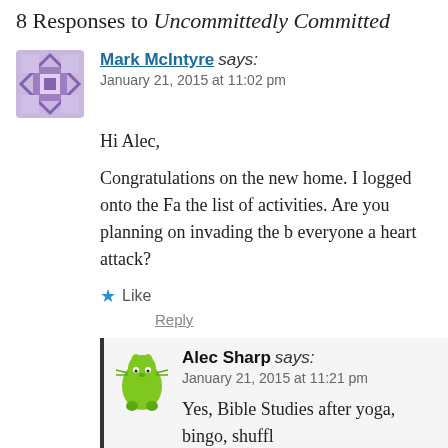8 Responses to Uncommittedly Committed
Mark McIntyre says:
January 21, 2015 at 11:02 pm
Hi Alec,
Congratulations on the new home. I logged onto the Fa the list of activities. Are you planning on invading the b everyone a heart attack?
Like
Reply
Alec Sharp says:
January 21, 2015 at 11:21 pm
Yes, Bible Studies after yoga, bingo, shuffl